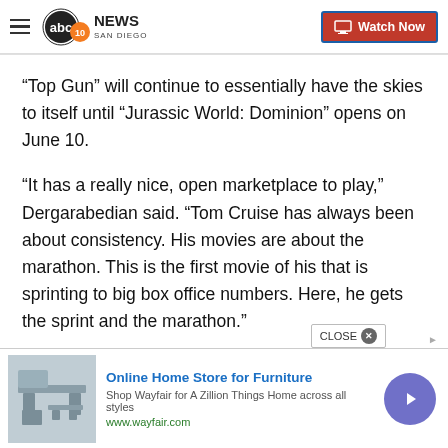ABC 10News San Diego — Watch Now
“Top Gun” will continue to essentially have the skies to itself until “Jurassic World: Dominion” opens on June 10.
“It has a really nice, open marketplace to play,” Dergarabedian said. “Tom Cruise has always been about consistency. His movies are about the marathon. This is the first movie of his that is sprinting to big box office numbers. Here, he gets the sprint and the marathon.”
[Figure (screenshot): Advertisement banner for Wayfair: Online Home Store for Furniture with furniture image, blue title text, subtext and green URL, and a purple arrow button.]